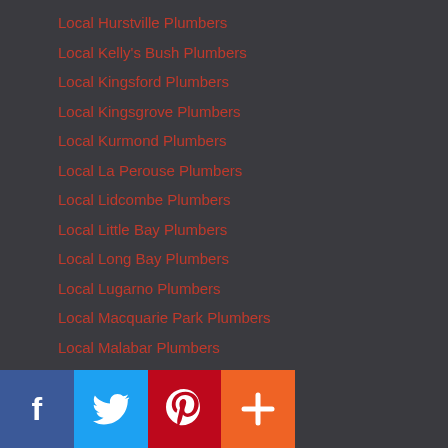Local Hurstville Plumbers
Local Kelly's Bush Plumbers
Local Kingsford Plumbers
Local Kingsgrove Plumbers
Local Kurmond Plumbers
Local La Perouse Plumbers
Local Lidcombe Plumbers
Local Little Bay Plumbers
Local Long Bay Plumbers
Local Lugarno Plumbers
Local Macquarie Park Plumbers
Local Malabar Plumbers
Local Maroubra Plumbers
Local Marsfield Plumbers
Local Mascot Plumbers
Local Matraville Plumbers
Local Melrose Park Plumbers
Local Merrylands Plumbers
Local Millers Point Plumbers